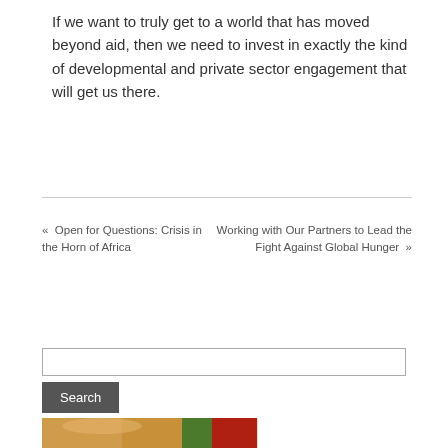If we want to truly get to a world that has moved beyond aid, then we need to invest in exactly the kind of developmental and private sector engagement that will get us there.
« Open for Questions: Crisis in the Horn of Africa
Working with Our Partners to Lead the Fight Against Global Hunger »
[Figure (photo): Search input box and button]
[Figure (photo): Partial photo of a woman wearing a colorful headwrap in green, yellow, and red colors, looking down at a device]